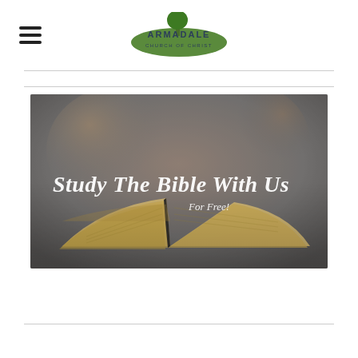Armadale Church of Christ
[Figure (photo): Open Bible book on a reflective dark surface with blurred background. Text overlay reads 'Study The Bible With Us' in bold italic white font, and 'For Free!' in smaller white italic font below.]